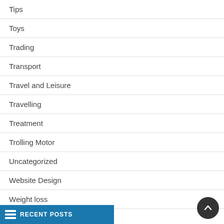Tips
Toys
Trading
Transport
Travel and Leisure
Travelling
Treatment
Trolling Motor
Uncategorized
Website Design
Weight loss
RECENT POSTS